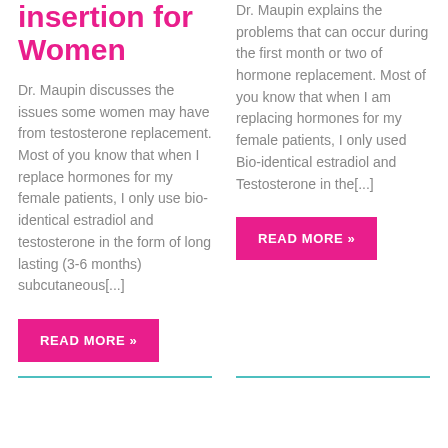insertion for Women
Dr. Maupin discusses the issues some women may have from testosterone replacement. Most of you know that when I replace hormones for my female patients, I only use bio-identical estradiol and testosterone in the form of long lasting (3-6 months) subcutaneous[...]
READ MORE »
Dr. Maupin explains the problems that can occur during the first month or two of hormone replacement. Most of you know that when I am replacing hormones for my female patients, I only used Bio-identical estradiol and Testosterone in the[...]
READ MORE »